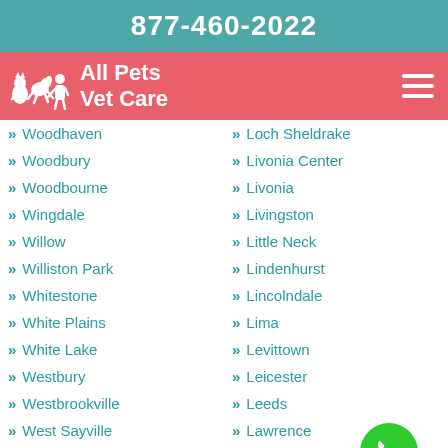877-460-2022
[Figure (logo): All Pets Vet Care logo with white silhouettes of pets and owner on red/salmon background]
Woodhaven
Loch Sheldrake
Woodbury
Livonia Center
Woodbourne
Livonia
Wingdale
Livingston
Willow
Little Neck
Williston Park
Lindenhurst
Whitestone
Lincolndale
White Plains
Lima
White Lake
Levittown
Westbury
Leicester
Westbrookville
Leeds
West Sayville
Lawrence
West Point
Lanesville